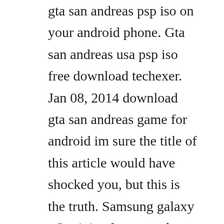gta san andreas psp iso on your android phone. Gta san andreas usa psp iso free download techexer. Jan 08, 2014 download gta san andreas game for android im sure the title of this article would have shocked you, but this is the truth. Samsung galaxy s 3 mini software update verizon wireless is pleased to announce a software update for your device. Now instead of the standard phone, there will be a samsung galaxy s3 white. Samsung galaxy s iii aims with the mini at the consumer that thinks that the galaxy s iii is just too big. San andreas is yet another